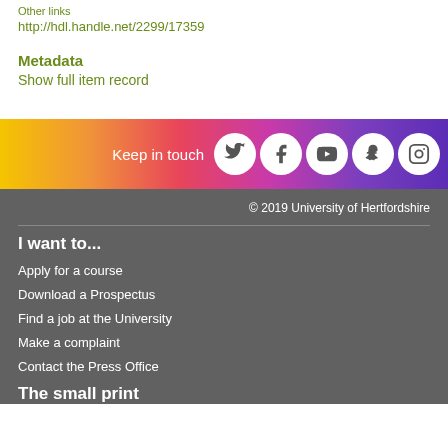Other links
http://hdl.handle.net/2299/17359
Metadata
Show full item record
[Figure (infographic): Rainbow gradient banner with social media icons (Twitter, Facebook, YouTube, Snapchat, Instagram) and 'Keep in touch' text]
© 2019 University of Hertfordshire
I want to...
Apply for a course
Download a Prospectus
Find a job at the University
Make a complaint
Contact the Press Office
The small print